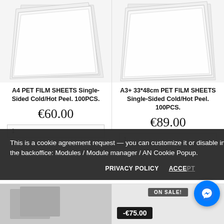[Figure (photo): A4 PET Film sheets product image - white/translucent plastic sheets fanned out on white background]
A4 PET FILM SHEETS Single-Sided Cold/Hot Peel. 100PCS.
€60.00
[Figure (photo): A3+ 33*48cm PET Film sheets product image - white/translucent plastic sheets fanned out on white background]
A3+ 33*48cm PET FILM SHEETS Single-Sided Cold/Hot Peel. 100PCS.
€89.00
This is a cookie agreement request — you can customize it or disable in the backoffice: Modules / Module manager / AN Cookie Popup.
PRIVACY POLICY
ACCEPT
ON SALE!
-€75.00